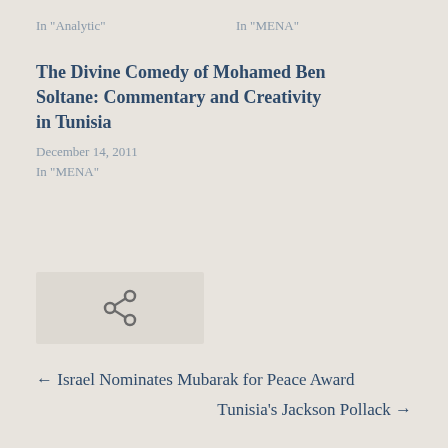In "Analytic"
In "MENA"
The Divine Comedy of Mohamed Ben Soltane: Commentary and Creativity in Tunisia
December 14, 2011
In "MENA"
[Figure (other): Share/link icon button in a gray rounded box]
← Israel Nominates Mubarak for Peace Award
Tunisia's Jackson Pollack →